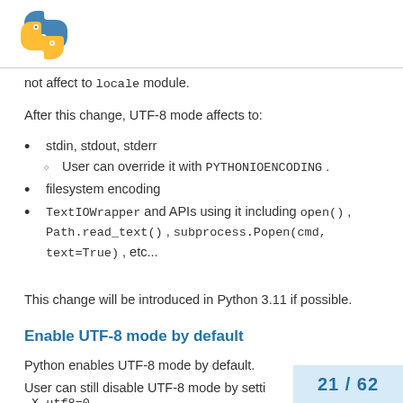[Figure (logo): Python logo — blue and yellow snake icon]
not affect to locale module.
After this change, UTF-8 mode affects to:
stdin, stdout, stderr
User can override it with PYTHONIOENCODING .
filesystem encoding
TextIOWrapper and APIs using it including open() , Path.read_text() , subprocess.Popen(cmd, text=True) , etc...
This change will be introduced in Python 3.11 if possible.
Enable UTF-8 mode by default
Python enables UTF-8 mode by default.
User can still disable UTF-8 mode by setting -X utf8=0 .
21 / 62